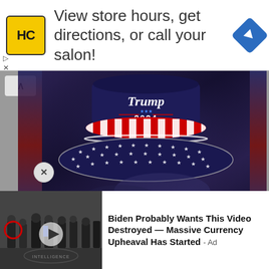[Figure (screenshot): Top advertisement banner with HC (Hair Club) logo, text 'View store hours, get directions, or call your salon!' and a blue navigation diamond icon]
[Figure (photo): Trump 2024 bucket hat with stars and stripes design — dark navy crown with 'Trump 2024' embroidery, red and white striped brim, dark brim with white stars]
GET Yours ASAP
[Figure (screenshot): Bottom advertisement thumbnail showing group of people in formal wear at CIA headquarters with red circle highlight and play button overlay]
Biden Probably Wants This Video Destroyed — Massive Currency Upheaval Has Started - Ad